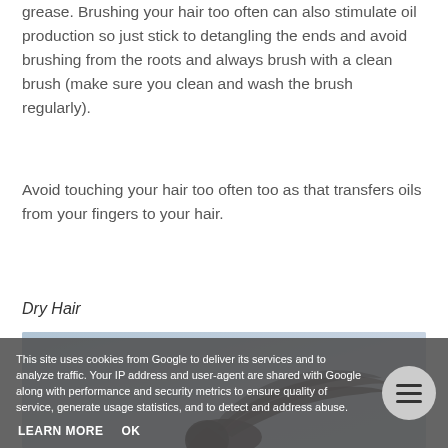grease. Brushing your hair too often can also stimulate oil production so just stick to detangling the ends and avoid brushing from the roots and always brush with a clean brush (make sure you clean and wash the brush regularly).
Avoid touching your hair too often too as that transfers oils from your fingers to your hair.
Dry Hair
[Figure (photo): Photo of a person with dark hair blowing in the wind against a light blue-grey background]
This site uses cookies from Google to deliver its services and to analyze traffic. Your IP address and user-agent are shared with Google along with performance and security metrics to ensure quality of service, generate usage statistics, and to detect and address abuse.
LEARN MORE   OK